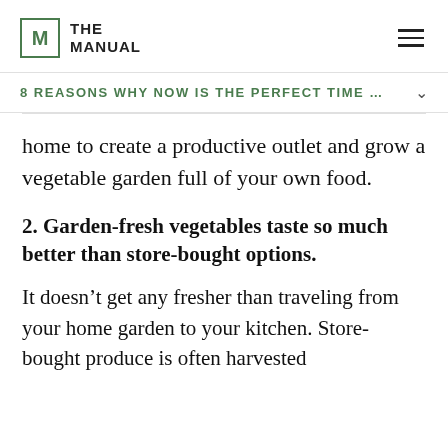THE MANUAL
8 REASONS WHY NOW IS THE PERFECT TIME ...
home to create a productive outlet and grow a vegetable garden full of your own food.
2. Garden-fresh vegetables taste so much better than store-bought options.
It doesn't get any fresher than traveling from your home garden to your kitchen. Store-bought produce is often harvested